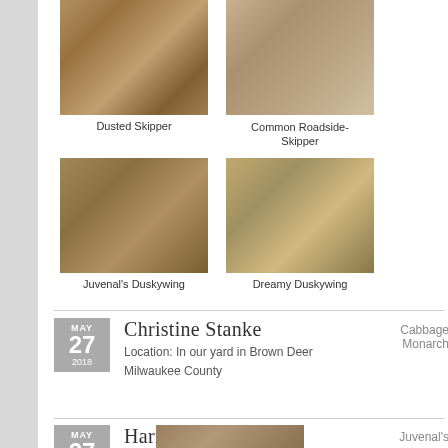[Figure (photo): Dusted Skipper butterfly on sandy ground]
Dusted Skipper
[Figure (photo): Common Roadside-Skipper butterfly on sandy/rocky ground]
Common Roadside-Skipper
[Figure (photo): Juvenal's Duskywing butterfly on sandy ground]
Juvenal's Duskywing
[Figure (photo): Dreamy Duskywing butterfly in grass/straw]
Dreamy Duskywing
Christine Stanke
Location: In our yard in Brown Deer
Milwaukee County
Cabbage
Monarch
Harry Peterson
Location: Baxter Hollow Natural Area
Sauk County
Juvenal's
[Figure (photo): Butterfly photo partially visible at bottom]